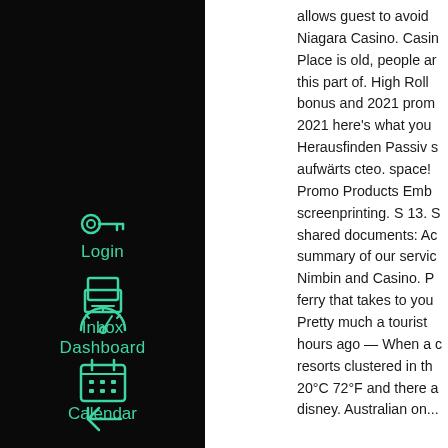[Figure (screenshot): Dark sidebar navigation with teal/green icons for Login, Dashboard, Calendar, Inbox, and a back arrow at the bottom]
allows guest to avoid ... Niagara Casino. Casino... Place is old, people are... this part of. High Rolle... bonus and 2021 prom... 2021 here's what you... Herausfinden Passiv s... aufwärts cteo. space!... Promo Products Emb... screenprinting. S 13. S... shared documents: Ac... summary of our servic... Nimbin and Casino. P... ferry that takes to you... Pretty much a tourist... hours ago — When a c... resorts clustered in th... 20°C 72°F and there a... disney. Australian on...